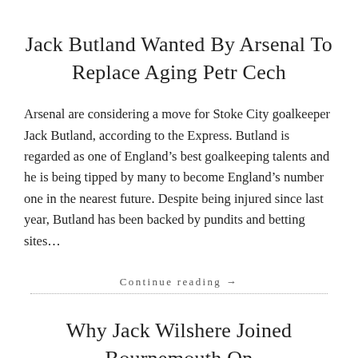Jack Butland Wanted By Arsenal To Replace Aging Petr Cech
Arsenal are considering a move for Stoke City goalkeeper Jack Butland, according to the Express. Butland is regarded as one of England’s best goalkeeping talents and he is being tipped by many to become England’s number one in the nearest future. Despite being injured since last year, Butland has been backed by pundits and betting sites…
Continue reading →
Why Jack Wilshere Joined Bournemouth On